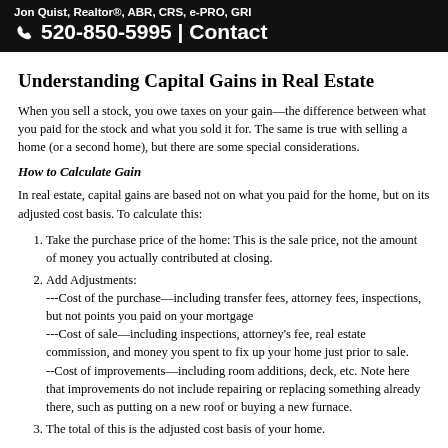Jon Quist, Realtor®, ABR, CRS, e-PRO, GRI
☎ 520-850-5995 | Contact
Understanding Capital Gains in Real Estate
When you sell a stock, you owe taxes on your gain—the difference between what you paid for the stock and what you sold it for. The same is true with selling a home (or a second home), but there are some special considerations.
How to Calculate Gain
In real estate, capital gains are based not on what you paid for the home, but on its adjusted cost basis. To calculate this:
Take the purchase price of the home: This is the sale price, not the amount of money you actually contributed at closing.
Add Adjustments:
---Cost of the purchase—including transfer fees, attorney fees, inspections, but not points you paid on your mortgage
---Cost of sale—including inspections, attorney's fee, real estate commission, and money you spent to fix up your home just prior to sale.
--Cost of improvements—including room additions, deck, etc. Note here that improvements do not include repairing or replacing something already there, such as putting on a new roof or buying a new furnace.
The total of this is the adjusted cost basis of your home.